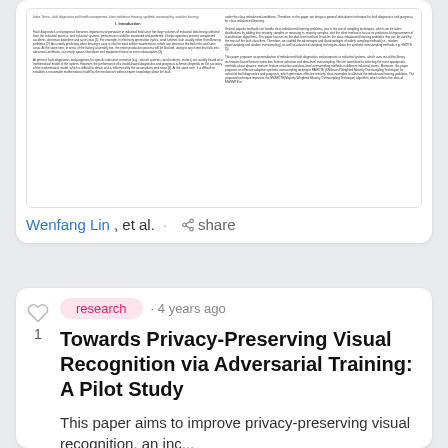[Figure (screenshot): Preview thumbnail of a two-column scientific paper on fault diagnostics and prognosis, class imbalance learning, synthetic oversampling, and machine learning.]
Wenfang Lin, et al.  · share
research · 4 years ago
Towards Privacy-Preserving Visual Recognition via Adversarial Training: A Pilot Study
This paper aims to improve privacy-preserving visual recognition, an inc...